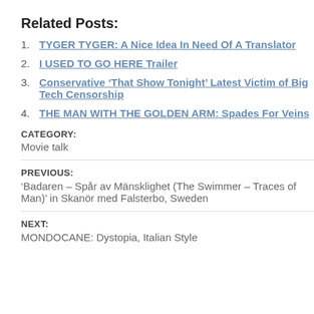Related Posts:
TYGER TYGER: A Nice Idea In Need Of A Translator
I USED TO GO HERE Trailer
Conservative ‘That Show Tonight’ Latest Victim of Big Tech Censorship
THE MAN WITH THE GOLDEN ARM: Spades For Veins
CATEGORY:
Movie talk
PREVIOUS:
‘Badaren – Spår av Mänsklighet (The Swimmer – Traces of Man)’ in Skanör med Falsterbo, Sweden
NEXT:
MONDOCANE: Dystopia, Italian Style